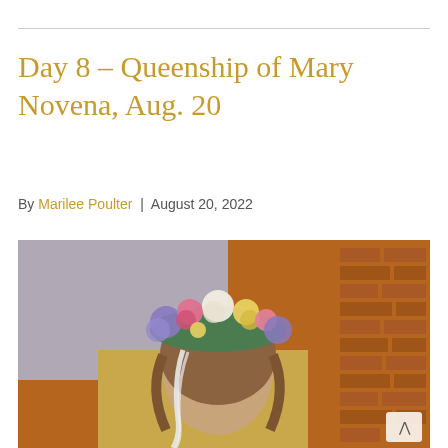Day 8 – Queenship of Mary Novena, Aug. 20
By Marilee Poulter | August 20, 2022
[Figure (photo): A statue of the Virgin Mary wearing a floral crown made of pink, white, yellow, and blue/purple flowers with white ribbons, against a brick wall background. The statue is gilded/gold-robed and looking downward.]